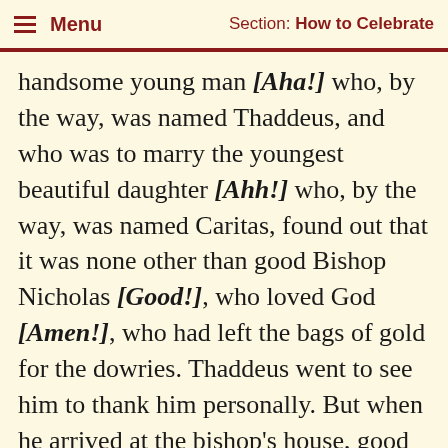Menu  Section: How to Celebrate
handsome young man [Aha!] who, by the way, was named Thaddeus, and who was to marry the youngest beautiful daughter [Ahh!] who, by the way, was named Caritas, found out that it was none other than good Bishop Nicholas [Good!], who loved God [Amen!], who had left the bags of gold for the dowries. Thaddeus went to see him to thank him personally. But when he arrived at the bishop's house, good Bishop Nicholas [Good!], who loved God [Amen], told this handsome young man [Aha!] not to tell a living soul about how the gold was put into the poor man's [Ohh!] house. He told him simply to go back home and marry Caritas